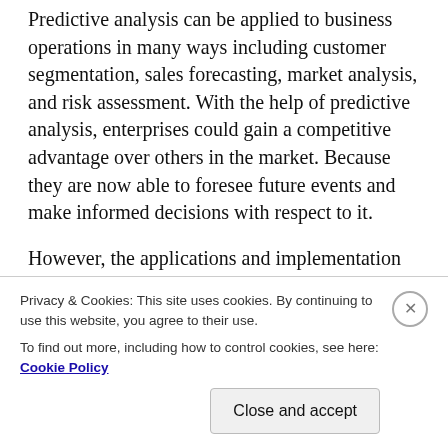Predictive analysis can be applied to business operations in many ways including customer segmentation, sales forecasting, market analysis, and risk assessment. With the help of predictive analysis, enterprises could gain a competitive advantage over others in the market. Because they are now able to foresee future events and make informed decisions with respect to it.
However, the applications and implementation of predictive analytics change from industry to industry but the task of predicting future events remains the common factor among them all.
Privacy & Cookies: This site uses cookies. By continuing to use this website, you agree to their use.
To find out more, including how to control cookies, see here: Cookie Policy